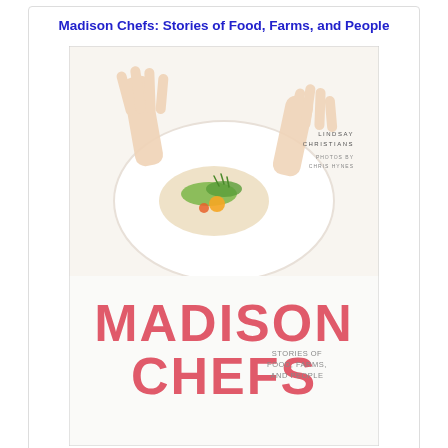Madison Chefs: Stories of Food, Farms, and People
[Figure (photo): Book cover of 'Madison Chefs: Stories of Food, Farms, and People' by Lindsay Christians, photos by Chris Hynes. Shows hands arranging food on a white plate, with large pink text 'MADISON CHEFS' and subtitle 'STORIES OF FOOD, FARMS, AND PEOPLE' on a white/light background.]
A Black Hawk War Guide: Landmarks, Battlefields, Museums and Firsthand Accounts
[Figure (photo): Book cover of 'A Black Hawk War Guide: Landmarks, Battlefields, Museums and Firsthand Accounts'. Shows a dark red/maroon cover with white text title and a historical illustration or photograph below.]